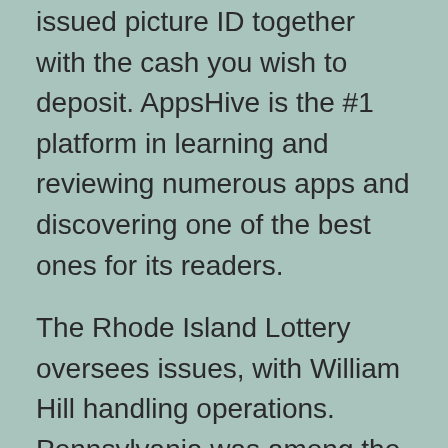issued picture ID together with the cash you wish to deposit. AppsHive is the #1 platform in learning and reviewing numerous apps and discovering one of the best ones for its readers.
The Rhode Island Lottery oversees issues, with William Hill handling operations. Pennsylvania was among the states that moved shortly in the wake of the PASPA ruling. The official launch of online sportsbooks occurred in May 2019. SugarHouse was the first cellular sportsbook to go reside, and it was quickly joined by sister property BetRivers and